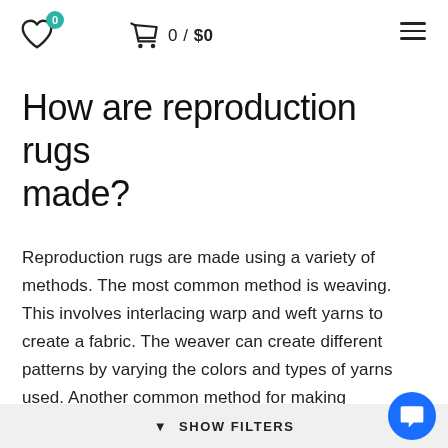♡ 0  🛒 0/$0  ☰
How are reproduction rugs made?
Reproduction rugs are made using a variety of methods. The most common method is weaving. This involves interlacing warp and weft yarns to create a fabric. The weaver can create different patterns by varying the colors and types of yarns used. Another common method for making reproduction rugs is tufting. This involves pushing yarns through a ba...
▼ SHOW FILTERS